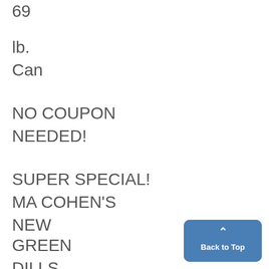69
lb.
Can
NO COUPON NEEDED!
SUPER SPECIAL!
MA COHEN'S
NEW
GREEN
DILLS